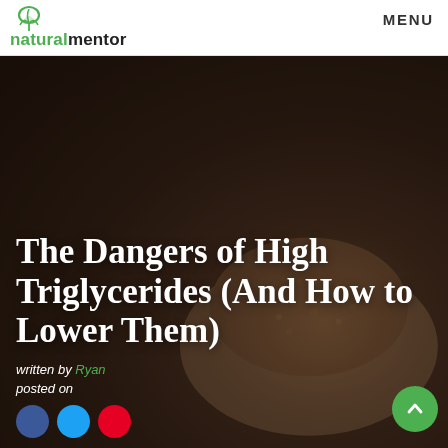natural mentor | MENU
[Figure (photo): Dark blurred background photo of food (sesame seed bun or similar), used as hero image background for the article about triglycerides.]
The Dangers of High Triglycerides (And How to Lower Them)
written by Ryan
posted on